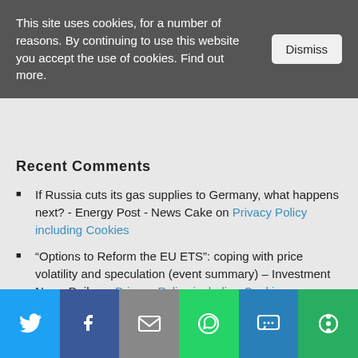This site uses cookies, for a number of reasons. By continuing to use this website you accept the use of cookies. Find out more.
Recent Comments
If Russia cuts its gas supplies to Germany, what happens next? - Energy Post - News Cake on Privacy Policy including Cookies
“Options to Reform the EU ETS”: coping with price volatility and speculation (event summary) – Investment News Daily on Privacy Policy including Cookies
Tim Beesley on Climate change, “wind droughts” and the implications for Wind energy
“Wind droughts”: una siccità congiunturale o strutturale? - Energia on Climate change, “wind droughts” and the implications for Wind energy